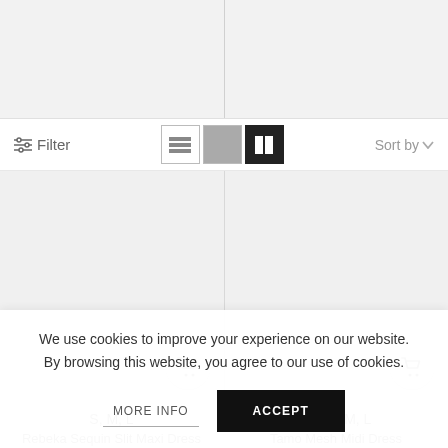[Figure (screenshot): Top image placeholder area split into two columns with a vertical divider, light gray background]
[Figure (screenshot): Toolbar with filter icon and label, three view mode buttons (list, single-grid, two-grid), and Sort by dropdown]
[Figure (screenshot): Product grid showing two product cards side by side, each with a light gray image area and a shopping cart button]
S, M, L
Rebeka Sequin Slit Maxi Dress
XS, S, M, L
Tamo Mesh Midi Dress
We use cookies to improve your experience on our website. By browsing this website, you agree to our use of cookies.
MORE INFO
ACCEPT